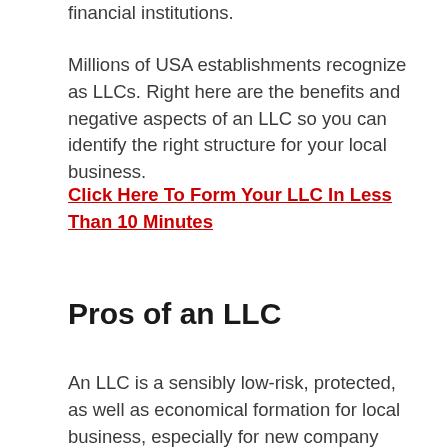financial institutions.
Millions of USA establishments recognize as LLCs. Right here are the benefits and negative aspects of an LLC so you can identify the right structure for your local business.
Click Here To Form Your LLC In Less Than 10 Minutes
Pros of an LLC
An LLC is a sensibly low-risk, protected, as well as economical formation for local business, especially for new company owner obtaining